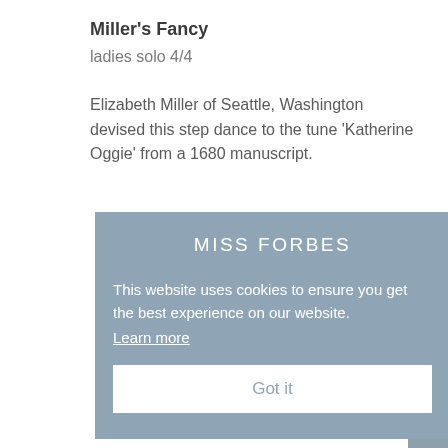Miller's Fancy
ladies solo 4/4
Elizabeth Miller of Seattle, Washington devised this step dance to the tune 'Katherine Oggie' from a 1680 manuscript.
MISS FORBES
This website uses cookies to ensure you get the best experience on our website.
Learn more
Got it